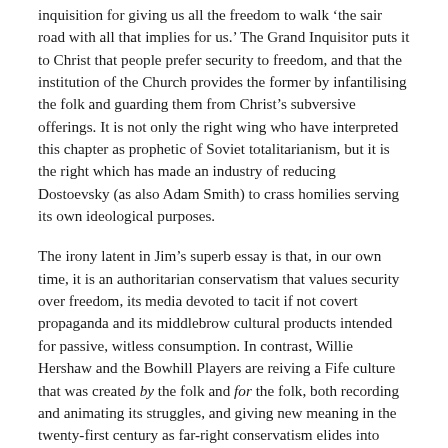inquisition for giving us all the freedom to walk 'the sair road with all that implies for us.' The Grand Inquisitor puts it to Christ that people prefer security to freedom, and that the institution of the Church provides the former by infantilising the folk and guarding them from Christ's subversive offerings. It is not only the right wing who have interpreted this chapter as prophetic of Soviet totalitarianism, but it is the right which has made an industry of reducing Dostoevsky (as also Adam Smith) to crass homilies serving its own ideological purposes.
The irony latent in Jim's superb essay is that, in our own time, it is an authoritarian conservatism that values security over freedom, its media devoted to tacit if not covert propaganda and its middlebrow cultural products intended for passive, witless consumption. In contrast, Willie Hershaw and the Bowhill Players are reiving a Fife culture that was created by the folk and for the folk, both recording and animating its struggles, and giving new meaning in the twenty-first century as far-right conservatism elides into crypto-fascism, which becomes less crypto by the hour. Willie Hershaw and his brothers- and sisters-in-art offer the Sair Road's freedom over Inquisitorial security, or to use the parlance of our own time, they stand for hope over fear.